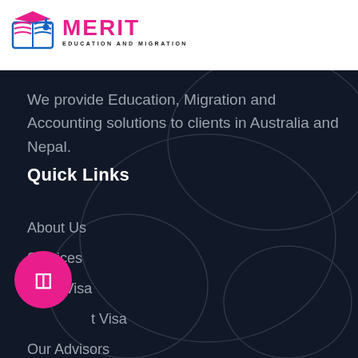[Figure (logo): Merit Education and Migration logo with graduation cap book icon and pink bold MERIT text]
[Figure (other): Hamburger menu button (three horizontal lines) in white border rectangle on blue background]
We provide Education, Migration and Accounting solutions to clients in Australia and Nepal.
Quick Links
About Us
Services
Work Visa
t Visa
Our Advisors